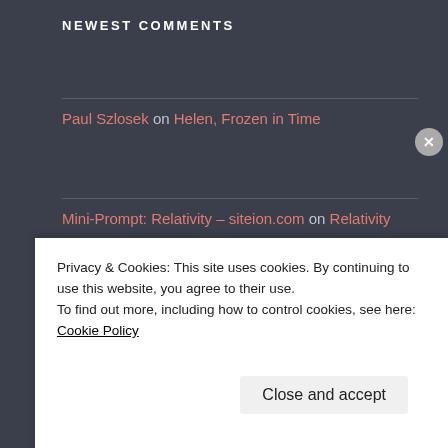NEWEST COMMENTS
Paul Szlosek on Helen, Frozen in Time
Mini-Prompt: Relativity – siteion.com on Relativity
Pamela Milne on Time and the River
[Figure (other): Follow Writing the Day WordPress follow button with count 444]
Privacy & Cookies: This site uses cookies. By continuing to use this website, you agree to their use. To find out more, including how to control cookies, see here: Cookie Policy
Close and accept